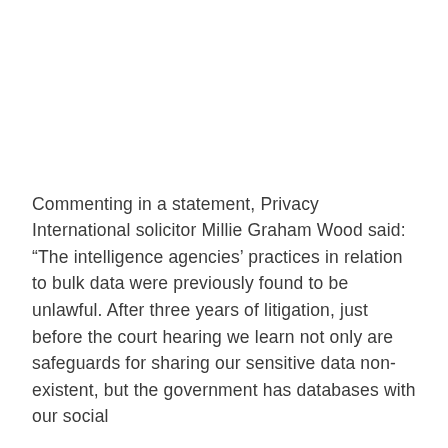Commenting in a statement, Privacy International solicitor Millie Graham Wood said: “The intelligence agencies’ practices in relation to bulk data were previously found to be unlawful. After three years of litigation, just before the court hearing we learn not only are safeguards for sharing our sensitive data non-existent, but the government has databases with our social